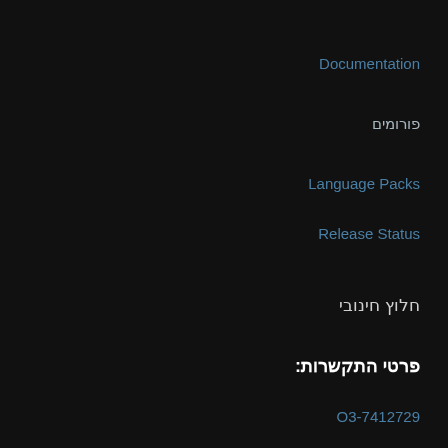Documentation
פורומים
Language Packs
Release Status
חלוץ חינובי
פרטי התקשרות:
03-7412729
nuritg@democratic.co.il